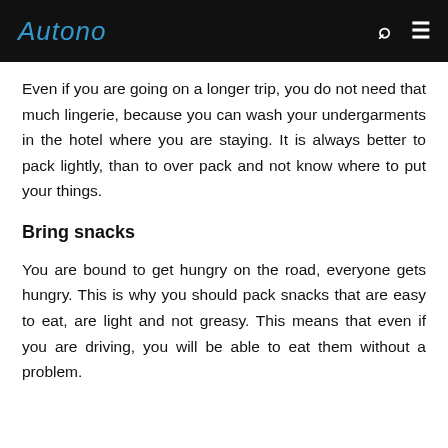Autono
Even if you are going on a longer trip, you do not need that much lingerie, because you can wash your undergarments in the hotel where you are staying. It is always better to pack lightly, than to over pack and not know where to put your things.
Bring snacks
You are bound to get hungry on the road, everyone gets hungry. This is why you should pack snacks that are easy to eat, are light and not greasy. This means that even if you are driving, you will be able to eat them without a problem.